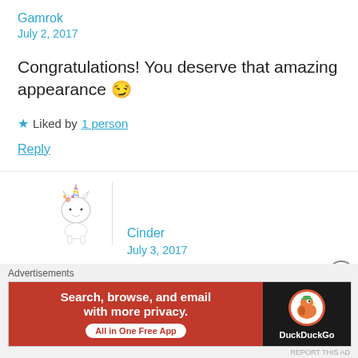Gamrok
July 2, 2017
Congratulations! You deserve that amazing appearance 😉
★ Liked by 1 person
Reply
[Figure (illustration): Unicorn avatar image - small white unicorn with colorful horn]
Cinder
July 3, 2017
Advertisements
[Figure (screenshot): DuckDuckGo advertisement banner: Search, browse, and email with more privacy. All in One Free App. DuckDuckGo logo.]